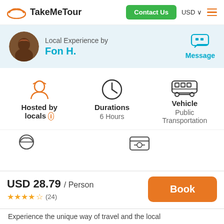TakeMeTour
Local Experience by Fon H.
Message
Hosted by locals
Durations
6 Hours
Vehicle
Public Transportation
USD 28.79 / Person
★★★★★ (24)
Book
Experience the unique way of travel and the local